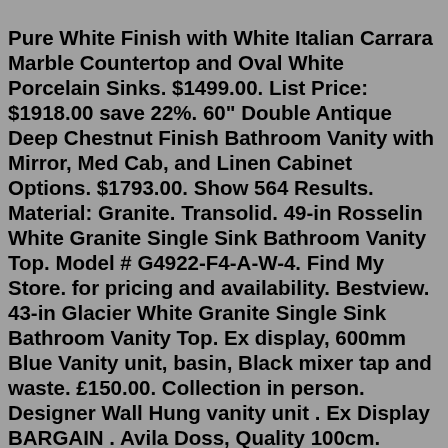Pure White Finish with White Italian Carrara Marble Countertop and Oval White Porcelain Sinks. $1499.00. List Price: $1918.00 save 22%. 60" Double Antique Deep Chestnut Finish Bathroom Vanity with Mirror, Med Cab, and Linen Cabinet Options. $1793.00. Show 564 Results. Material: Granite. Transolid. 49-in Rosselin White Granite Single Sink Bathroom Vanity Top. Model # G4922-F4-A-W-4. Find My Store. for pricing and availability. Bestview. 43-in Glacier White Granite Single Sink Bathroom Vanity Top. Ex display, 600mm Blue Vanity unit, basin, Black mixer tap and waste. £150.00. Collection in person. Designer Wall Hung vanity unit . Ex Display BARGAIN . Avila Doss, Quality 100cm. £249.00. 0 bids. Get set for white bathroom cabinets in Furniture, Bathroom furniture, Freestanding bathroom cabinets, Storage furniture, Freestanding bathroom cabinets, Storage, Furniture storage, Freestanding bathroom cabinets at Argos. Same Day delivery 7 days a week, or fast store collection.This Piece Isn't Lacking In Storage Either. $2867.39.